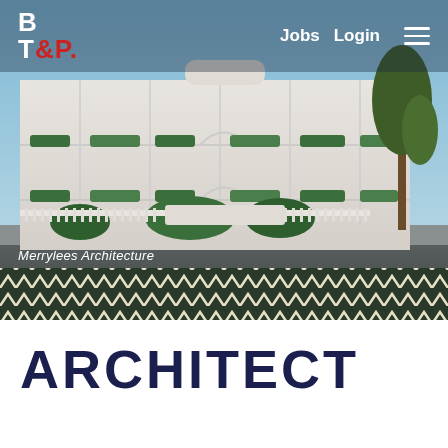[Figure (screenshot): Website screenshot showing BT&P logo, navigation bar with Jobs and Login links, hamburger menu, and a hero image of a modern white multi-storey residential building (Merrylees Architecture) with green plants on balconies, a tree to the right, and a decorative chevron pattern strip at the bottom of the image.]
Merrylees Architecture
ARCHITECT